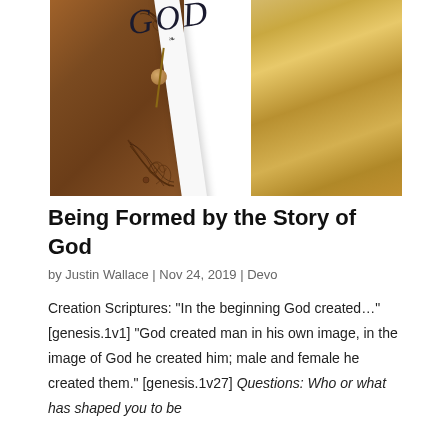[Figure (photo): Photo of a leather-bound book next to a white card displaying the word 'GOD' in elegant serif font, resting on a granite surface with a decorative bead and string]
Being Formed by the Story of God
by Justin Wallace | Nov 24, 2019 | Devo
Creation Scriptures: “In the beginning God created…” [genesis.1v1] “God created man in his own image, in the image of God he created him; male and female he created them.” [genesis.1v27] Questions: Who or what has shaped you to be